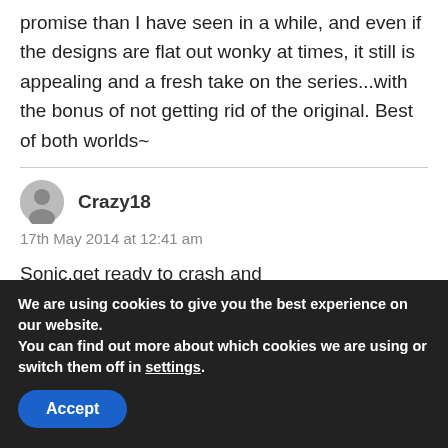promise than I have seen in a while, and even if the designs are flat out wonky at times, it still is appealing and a fresh take on the series...with the bonus of not getting rid of the original. Best of both worlds~
Crazy18
17th May 2014 at 12:41 am
Sonic,get ready to crash and BUUUUURRRNNNNN in HELL!
We are using cookies to give you the best experience on our website.
You can find out more about which cookies we are using or switch them off in settings.